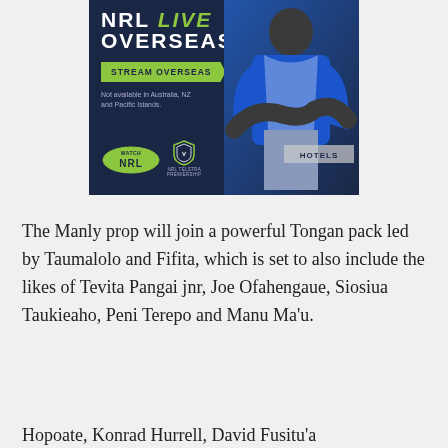[Figure (photo): NRL Live Overseas advertisement banner featuring a Canterbury Bulldogs player in blue jersey with arms crossed, with text 'NRL LIVE OVERSEAS', 'STREAM OVERSEAS', 'Not available in Australia, NZ and Pacific Islands.', Watch NRL logo, NRL Premiership shield logo, and Hotels branding.]
The Manly prop will join a powerful Tongan pack led by Taumalolo and Fifita, which is set to also include the likes of Tevita Pangai jnr, Joe Ofahengaue, Siosiua Taukieaho, Peni Terepo and Manu Ma’u.
Hopoate, Konrad Hurrell, David Fusitu’a